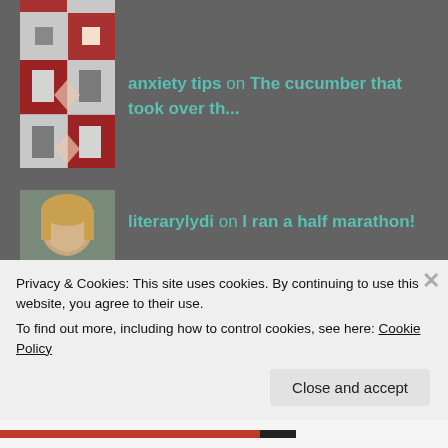[Figure (photo): Decorative quilt/pattern avatar image (top, partially cropped)]
[Figure (photo): Decorative red and white quilt/pattern avatar image]
anxiety tips on The cucumber that took over th...
[Figure (photo): Photo of a woman with blonde hair, avatar]
literarylydi on I ran a half marathon!
ARCHIVES
July 2016
March 2016
Privacy & Cookies: This site uses cookies. By continuing to use this website, you agree to their use.
To find out more, including how to control cookies, see here: Cookie Policy
Close and accept